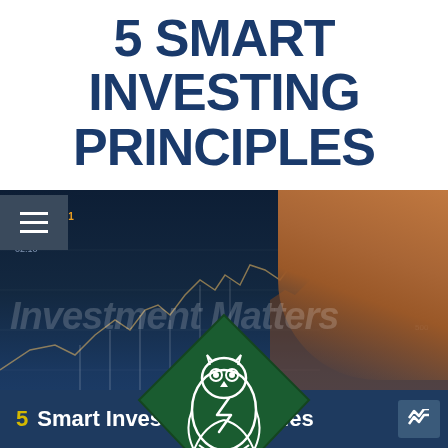5 SMART INVESTING PRINCIPLES
[Figure (screenshot): Financial investment themed image showing a tablet/device with stock charts and graphs, a hand pointing at the chart, overlaid with a green diamond-shaped owl logo, watermark text 'Investment Matters', and a dark blue bottom bar reading '5 Smart Investing Principles'.]
5 Smart Investing Principles